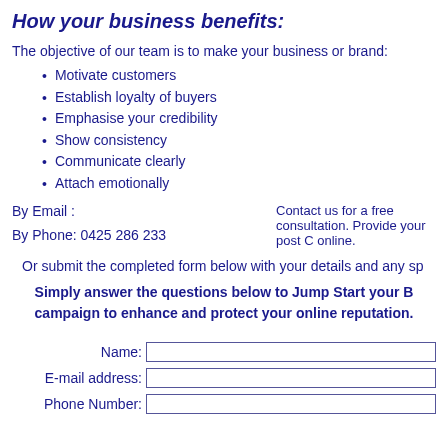How your business benefits:
The objective of our team is to make your business or brand:
Motivate customers
Establish loyalty of buyers
Emphasise your credibility
Show consistency
Communicate clearly
Attach emotionally
By Email :
By Phone: 0425 286 233
Contact us for a free consultation. Provide your post Code online.
Or submit the completed form below with your details and any sp
Simply answer the questions below to Jump Start your B campaign to enhance and protect your online reputation.
Name:
E-mail address:
Phone Number: